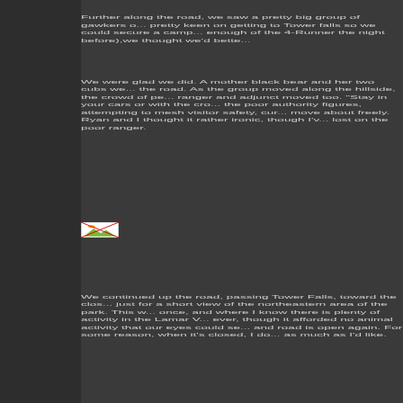Further along the road, we saw a pretty big group of gawkers o... pretty keen on getting to Tower falls so we could secure a camp... enough of the 4-Runner the night before),we thought we'd bette...
We were glad we did. A mother black bear and her two cubs we... the road. As the group moved along the hillside, the crowd of pe... ranger and adjunct moved too. "Stay in your cars or with the cro... the poor authority figures, attempting to mesh visitor safety, cur... move about freely. Ryan and I thought it rather ironic, though I'v... lost on the poor ranger.
[Figure (photo): Small broken image placeholder icon]
We continued up the road, passing Tower Falls, toward the clos... just for a short view of the northeastern area of the park. This w... once, and where I know there is plenty of activity in the Lamar V... ever, though it afforded no animal activity that our eyes could se... and road is open again. For some reason, when it's closed, I do... as much as I'd like.